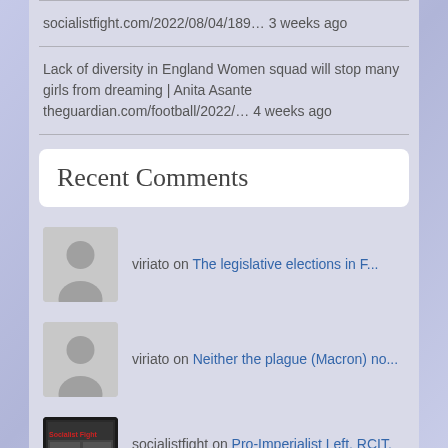socialistfight.com/2022/08/04/189… 3 weeks ago
Lack of diversity in England Women squad will stop many girls from dreaming | Anita Asante theguardian.com/football/2022/… 4 weeks ago
Recent Comments
viriato on The legislative elections in F...
viriato on Neither the plague (Macron) no...
socialistfight on Pro-Imperialist Left, RCIT, LF...